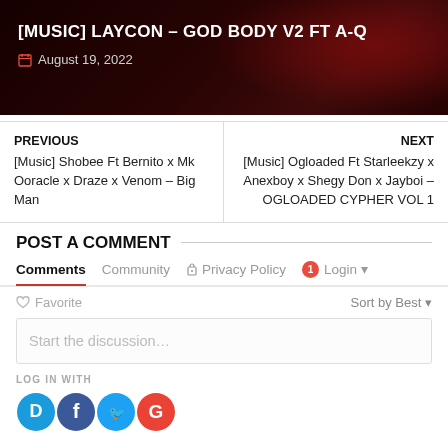[MUSIC] LAYCON - GOD BODY V2 FT A-Q
August 19, 2022
PREVIOUS
[Music] Shobee Ft Bernito x Mk Ooracle x Draze x Venom - Big Man
NEXT
[Music] Ogloaded Ft Starleekzy x Anexboy x Shegy Don x Jayboi - OGLOADED CYPHER VOL 1
POST A COMMENT
Comments   Community   Privacy Policy   1 Login
♡ Favorite   Sort by Best
Start the discussion…
LOG IN WITH
D  f  Twitter  G social login icons